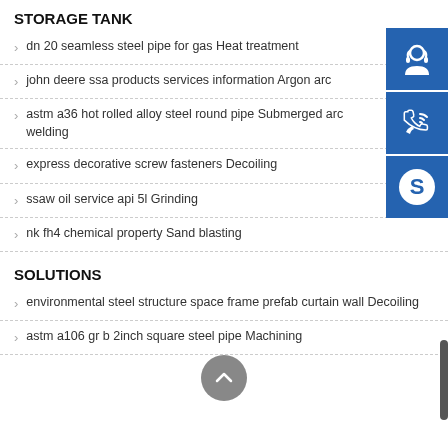STORAGE TANK
dn 20 seamless steel pipe for gas Heat treatment
john deere ssa products services information Argon arc
astm a36 hot rolled alloy steel round pipe Submerged arc welding
express decorative screw fasteners Decoiling
ssaw oil service api 5l Grinding
nk fh4 chemical property Sand blasting
SOLUTIONS
environmental steel structure space frame prefab curtain wall Decoiling
astm a106 gr b 2inch square steel pipe Machining